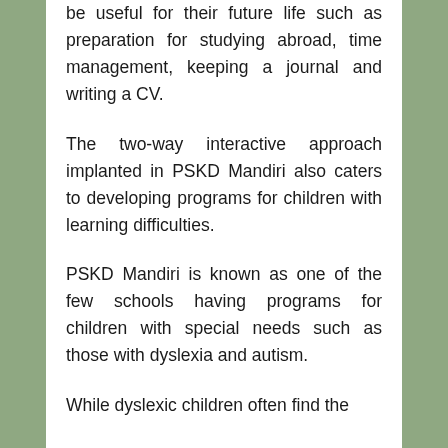be useful for their future life such as preparation for studying abroad, time management, keeping a journal and writing a CV.
The two-way interactive approach implanted in PSKD Mandiri also caters to developing programs for children with learning difficulties.
PSKD Mandiri is known as one of the few schools having programs for children with special needs such as those with dyslexia and autism.
While dyslexic children often find the